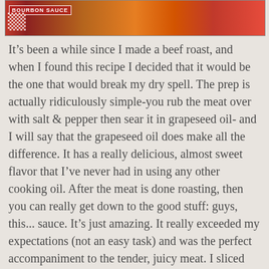[Figure (photo): Food photo showing beef roast with bourbon sauce, with a red and white checkered pattern on left and text 'BOURBON SAUCE' overlaid]
It’s been a while since I made a beef roast, and when I found this recipe I decided that it would be the one that would break my dry spell. The prep is actually ridiculously simple-you rub the meat over with salt & pepper then sear it in grapeseed oil- and I will say that the grapeseed oil does make all the difference. It has a really delicious, almost sweet flavor that I’ve never had in using any other cooking oil. After the meat is done roasting, then you can really get down to the good stuff: guys, this... sauce. It’s just amazing. It really exceeded my expectations (not an easy task) and was the perfect accompaniment to the tender, juicy meat. I sliced the roast into thick, round slices and poured the sauce on top, then roasted some vegetables with agave to serve on the side. It’s